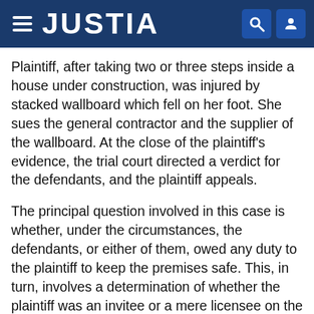JUSTIA
Plaintiff, after taking two or three steps inside a house under construction, was injured by stacked wallboard which fell on her foot. She sues the general contractor and the supplier of the wallboard. At the close of the plaintiff's evidence, the trial court directed a verdict for the defendants, and the plaintiff appeals.
The principal question involved in this case is whether, under the circumstances, the defendants, or either of them, owed any duty to the plaintiff to keep the premises safe. This, in turn, involves a determination of whether the plaintiff was an invitee or a mere licensee on the premises at the time of the accident.
There is little dispute about the essential facts of this case. The plaintiff is entitled to have all conflicts in the evidence resolved in her favor and to have the benefit of